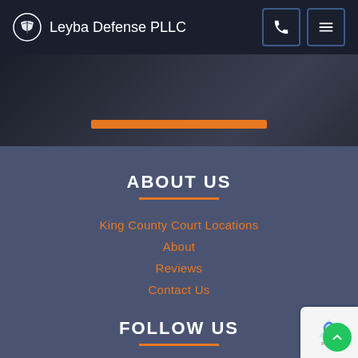Leyba Defense PLLC
[Figure (screenshot): Hero image area with dark background and orange horizontal bar]
ABOUT US
King County Court Locations
About
Reviews
Contact Us
FOLLOW US
[Figure (infographic): Row of social media icons: Facebook, LinkedIn, Yelp, YouTube, chat/message, map, Pinterest, email]
[Figure (logo): reCAPTCHA badge with privacy text and green scroll-to-top button]